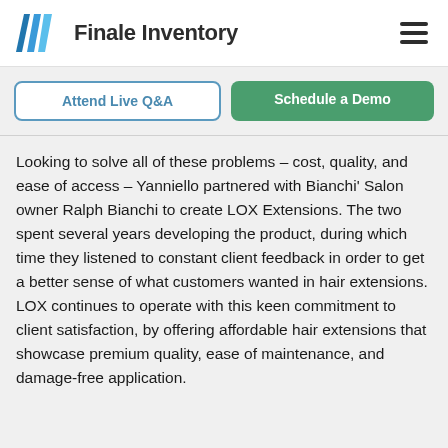Finale Inventory
[Figure (logo): Finale Inventory logo with blue diagonal stripe icon and bold text]
Attend Live Q&A
Schedule a Demo
Looking to solve all of these problems – cost, quality, and ease of access – Yanniello partnered with Bianchi' Salon owner Ralph Bianchi to create LOX Extensions. The two spent several years developing the product, during which time they listened to constant client feedback in order to get a better sense of what customers wanted in hair extensions. LOX continues to operate with this keen commitment to client satisfaction, by offering affordable hair extensions that showcase premium quality, ease of maintenance, and damage-free application.